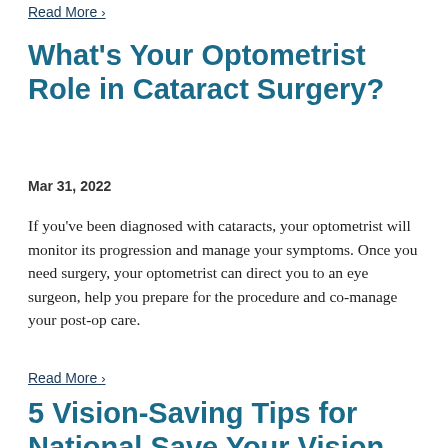Read More ›
What's Your Optometrist Role in Cataract Surgery?
Mar 31, 2022
If you've been diagnosed with cataracts, your optometrist will monitor its progression and manage your symptoms. Once you need surgery, your optometrist can direct you to an eye surgeon, help you prepare for the procedure and co-manage your post-op care.
Read More ›
5 Vision-Saving Tips for National Save Your Vision Month